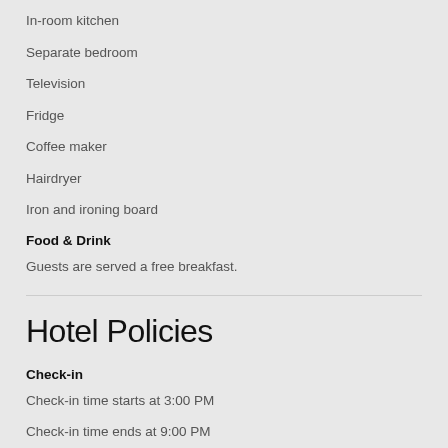In-room kitchen
Separate bedroom
Television
Fridge
Coffee maker
Hairdryer
Iron and ironing board
Food & Drink
Guests are served a free breakfast.
Hotel Policies
Check-in
Check-in time starts at 3:00 PM
Check-in time ends at 9:00 PM
Minimum check-in age is: 18